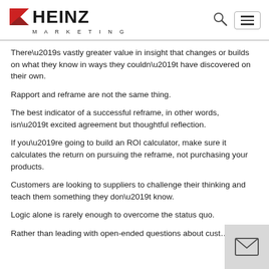HEINZ MARKETING
There’s vastly greater value in insight that changes or builds on what they know in ways they couldn’t have discovered on their own.
Rapport and reframe are not the same thing.
The best indicator of a successful reframe, in other words, isn’t excited agreement but thoughtful reflection.
If you’re going to build an ROI calculator, make sure it calculates the return on pursuing the reframe, not purchasing your products.
Customers are looking to suppliers to challenge their thinking and teach them something they don’t know.
Logic alone is rarely enough to overcome the status quo.
Rather than leading with open-ended questions about cust…